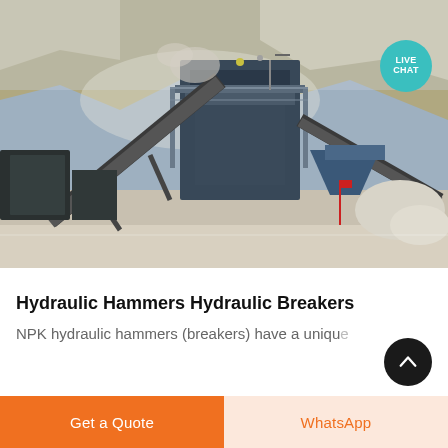[Figure (photo): Industrial quarry/mining site with heavy machinery including conveyor belts, crushers, and processing equipment against a rocky hillside backdrop. A 'LIVE CHAT' teal circular button is overlaid in the top-right corner of the photo.]
Hydraulic Hammers Hydraulic Breakers
NPK hydraulic hammers (breakers) have a unique
Get a Quote
WhatsApp